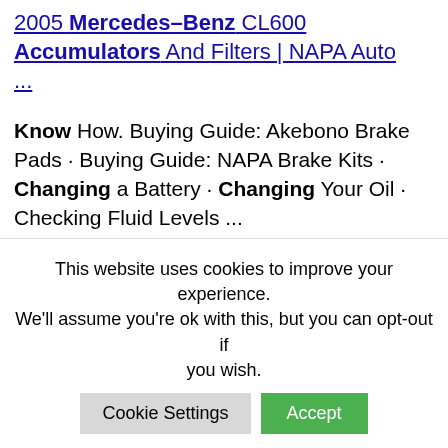2005 Mercedes–Benz CL600 Accumulators And Filters | NAPA Auto ...
Know How. Buying Guide: Akebono Brake Pads · Buying Guide: NAPA Brake Kits · Changing a Battery · Changing Your Oil · Checking Fluid Levels ...
Automotive Replacement Fuel Injection Fuel Accumulators ...
Results 1 – 24 of 148    Online
This website uses cookies to improve your experience. We'll assume you're ok with this, but you can opt-out if you wish.